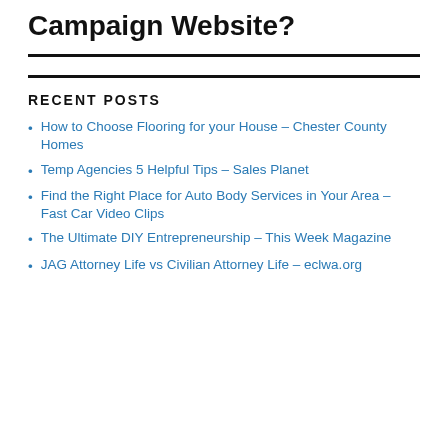Campaign Website?
RECENT POSTS
How to Choose Flooring for your House – Chester County Homes
Temp Agencies 5 Helpful Tips – Sales Planet
Find the Right Place for Auto Body Services in Your Area – Fast Car Video Clips
The Ultimate DIY Entrepreneurship – This Week Magazine
JAG Attorney Life vs Civilian Attorney Life – eclwa.org